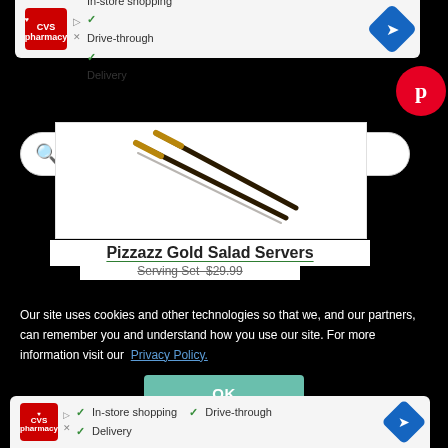[Figure (screenshot): CVS Pharmacy ad strip with In-store shopping, Drive-through, Delivery options and navigation icon]
[Figure (screenshot): Google-style search bar with green search icon and placeholder text 'Search', and Pinterest red circular button on the right]
[Figure (photo): Product image of Pizzazz Gold Salad Servers - two gold-tipped dark servers crossing each other on white background]
Pizzazz Gold Salad Servers
Serving Set $29.99 (partially visible, crossed out)
Our site uses cookies and other technologies so that we, and our partners, can remember you and understand how you use our site. For more information visit our Privacy Policy.
OK
[Figure (screenshot): CVS Pharmacy ad strip at bottom with In-store shopping, Drive-through, Delivery options]